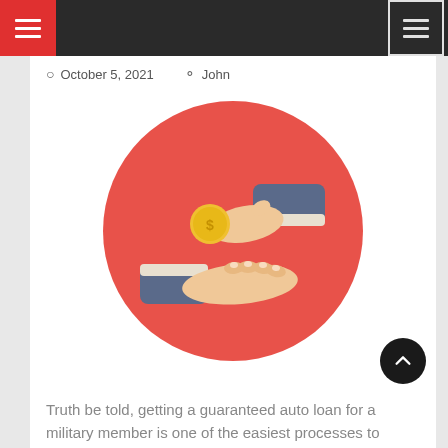Navigation bar with hamburger menus
October 5, 2021   John
[Figure (illustration): Illustration of two hands exchanging a gold coin on a red circular background, representing a financial transaction or loan]
Truth be told, getting a guaranteed auto loan for a military member is one of the easiest processes to